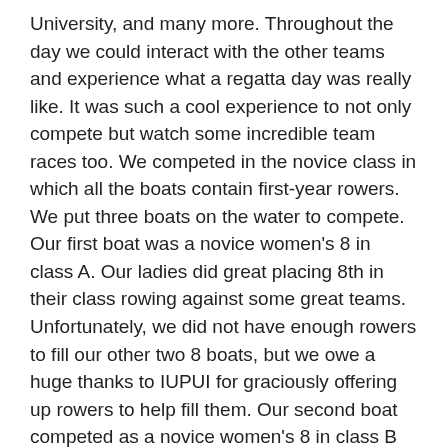University, and many more. Throughout the day we could interact with the other teams and experience what a regatta day was really like. It was such a cool experience to not only compete but watch some incredible team races too. We competed in the novice class in which all the boats contain first-year rowers. We put three boats on the water to compete. Our first boat was a novice women's 8 in class A. Our ladies did great placing 8th in their class rowing against some great teams. Unfortunately, we did not have enough rowers to fill our other two 8 boats, but we owe a huge thanks to IUPUI for graciously offering up rowers to help fill them. Our second boat competed as a novice women's 8 in class B and got 3rd earning them a bronze medal! Our third boat was a novice men's 8 in class C+. Our men also did great placing 8th in their class. All of our teams were incredible competitors against some big schools that have had a lot more practice than us. Overall, our very first foray into rowing has been...